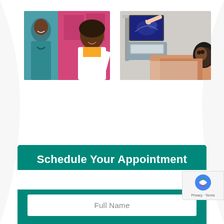[Figure (photo): Two photos side by side: left photo shows medical staff including a smiling woman doctor in white coat and yellow top and a nurse in teal scrubs; right photo shows an ultrasound procedure with a patient lying down and a technician pointing to an ultrasound monitor screen.]
Schedule Your Appointment
Full Name